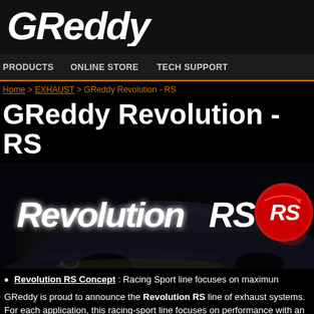GReddy
PRODUCTS  ONLINE STORE  TECH SUPPORT
Home > EXHAUST > GReddy Revolution - RS
GReddy Revolution - RS
[Figure (photo): Dark atmospheric photo of a sports car from behind with exhaust system visible, overlaid with Revolution RS logo in white italic script and red circle badge with RS text]
Revolution RS Concept : Racing Sport line focuses on maximum
GReddy is proud to announce the Revolution RS line of exhaust systems. For each application, this racing-sport line focuses on performance with an a... and the internal straight-through construction of each muffler and resona...